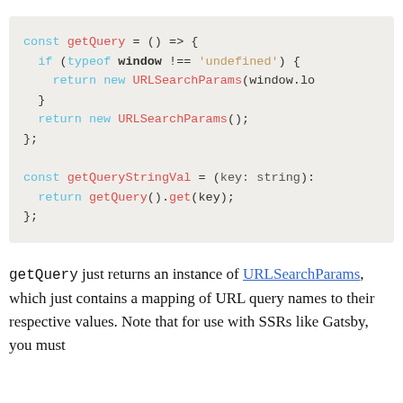[Figure (screenshot): Code block showing JavaScript: const getQuery = () => { if (typeof window !== 'undefined') { return new URLSearchParams(window.lo } return new URLSearchParams(); }; const getQueryStringVal = (key: string): return getQuery().get(key); };]
getQuery just returns an instance of URLSearchParams, which just contains a mapping of URL query names to their respective values. Note that for use with SSRs like Gatsby, you must